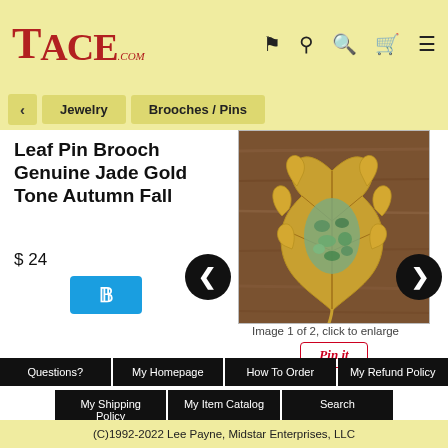TACE .COM
< Jewelry Brooches / Pins
Leaf Pin Brooch Genuine Jade Gold Tone Autumn Fall
$ 24
[Figure (photo): Gold tone maple leaf brooch with jade chips in the center, photographed on a wooden surface]
Image 1 of 2, click to enlarge
Pin it
Questions?
My Homepage
How To Order
My Refund Policy
My Shipping Policy
My Item Catalog
Search
Vintage maple leaf pin brooch has a layer of chips of genuine jade in its center in textured  bright gold tone metal that is similar to Swoboda, but this pin is unsigned.  This graceful maple leaf pin measures approximately 2 x 1 3/4" and has a
(C)1992-2022 Lee Payne, Midstar Enterprises, LLC